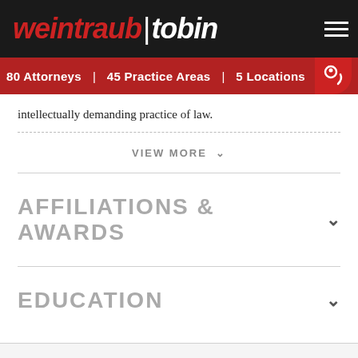weintraub | tobin — 80 Attorneys | 45 Practice Areas | 5 Locations
intellectually demanding practice of law.
VIEW MORE
AFFILIATIONS & AWARDS
EDUCATION